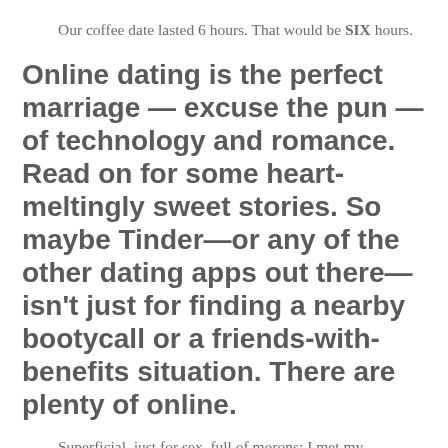Our coffee date lasted 6 hours. That would be SIX hours.
Online dating is the perfect marriage — excuse the pun — of technology and romance. Read on for some heart-meltingly sweet stories. So maybe Tinder—or any of the other dating apps out there—isn't just for finding a nearby bootycall or a friends-with-benefits situation. There are plenty of online.
Superficial, just for sex, full of morons: I met my boyfriend on a dating app and I am not alone: I first saw my now boyfriend on Tinder: Friends are hopeless romantics.